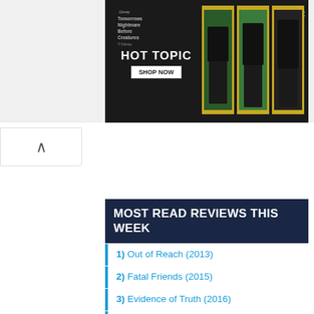[Figure (screenshot): Hot Topic Disney advertisement banner featuring a dark background with a logo/title text area on left and three photos of a model in black and green outfit on yellow background on right. Text reads 'HOT TOPIC' and 'SHOP NOW' button.]
[Figure (screenshot): Scroll-up navigation tab with upward caret arrow]
MOST READ REVIEWS THIS WEEK
1) Out of Reach (2013)
2) Fatal Friends (2015)
3) Evidence of Truth (2016)
4) Dangerous Lessons (2016)
5) Reflections (2008)